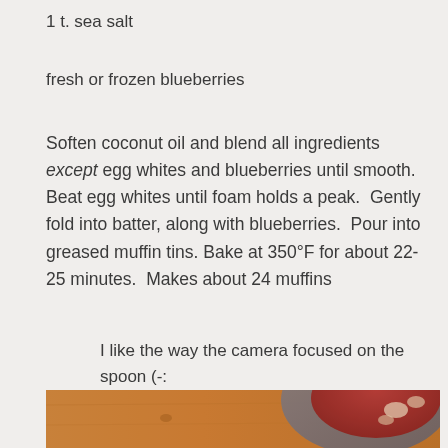1 t. sea salt
fresh or frozen blueberries
Soften coconut oil and blend all ingredients except egg whites and blueberries until smooth.  Beat egg whites until foam holds a peak.  Gently fold into batter, along with blueberries.  Pour into greased muffin tins. Bake at 350°F for about 22-25 minutes.  Makes about 24 muffins
I like the way the camera focused on the spoon (-:
[Figure (photo): A close-up photograph of a bowl or plate with red/berry-colored sauce or jam and a spoon, on a wooden surface. The image is blurred/bokeh with warm tones.]